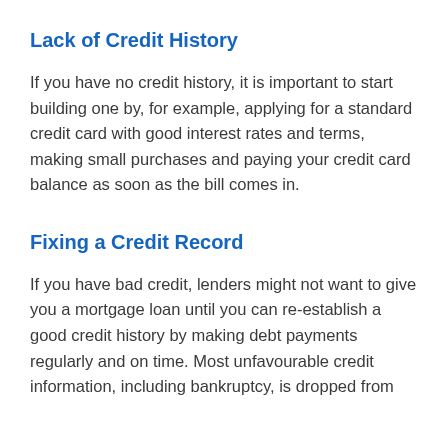Lack of Credit History
If you have no credit history, it is important to start building one by, for example, applying for a standard credit card with good interest rates and terms, making small purchases and paying your credit card balance as soon as the bill comes in.
Fixing a Credit Record
If you have bad credit, lenders might not want to give you a mortgage loan until you can re-establish a good credit history by making debt payments regularly and on time. Most unfavourable credit information, including bankruptcy, is dropped from